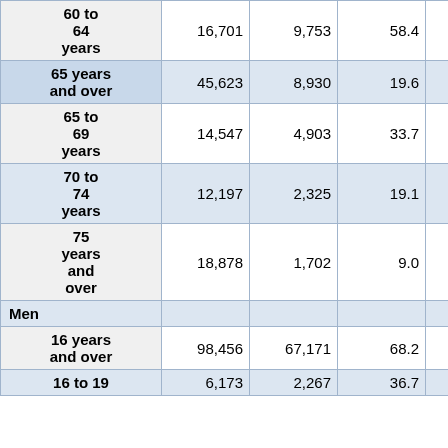| Age Group | Col1 | Col2 | Col3 | Col4 | Col5 |
| --- | --- | --- | --- | --- | --- |
| 60 to 64 years | 16,701 | 9,753 | 58.4 | 9,139 | 54.7 |
| 65 years and over | 45,623 | 8,930 | 19.6 | 8,298 | 18.2 |
| 65 to 69 years | 14,547 | 4,903 | 33.7 | 4,557 | 31.3 |
| 70 to 74 years | 12,197 | 2,325 | 19.1 | 2,153 | 17.7 |
| 75 years and over | 18,878 | 1,702 | 9.0 | 1,588 | 8.4 |
| Men |  |  |  |  |  |
| 16 years and over | 98,456 | 67,171 | 68.2 | 62,446 | 63.4 |
| 16 to 19 | 6,173 | 2,267 | 36.7 | 1,876 | 30.4 |